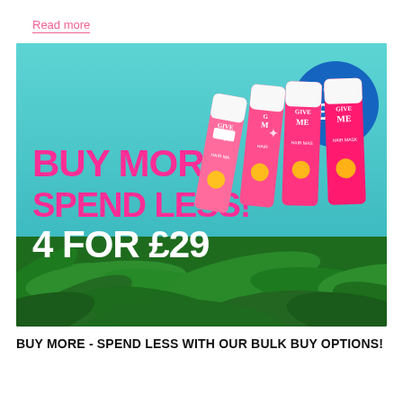Read more
[Figure (photo): Promotional banner for 'Give Me' Hair Mask products. Tropical teal/turquoise sky background with palm fronds at bottom. Four pink tubes of 'Give Me HAIR MASK' product on the right. Large pink bold text 'BUY MORE SPEND LESS!' and white bold text '4 FOR £29'. Blue circle badge in top-right corner reads 'WORTH £36'.]
BUY MORE - SPEND LESS WITH OUR BULK BUY OPTIONS!